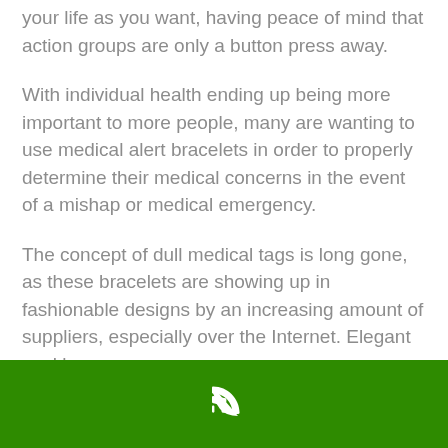your life as you want, having peace of mind that action groups are only a button press away.
With individual health ending up being more important to more people, many are wanting to use medical alert bracelets in order to properly determine their medical concerns in the event of a mishap or medical emergency.
The concept of dull medical tags is long gone, as these bracelets are showing up in fashionable designs by an increasing amount of suppliers, especially over the Internet. Elegant necklaces,
[Figure (other): Green footer bar with a white phone handset icon centered]